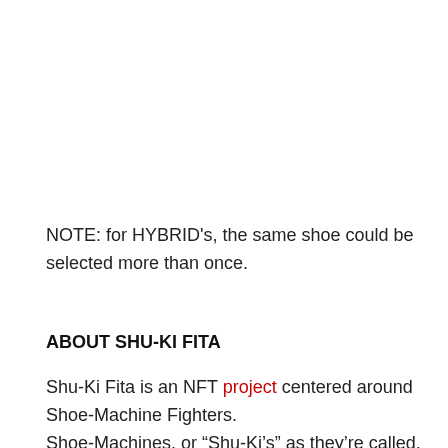NOTE: for HYBRID's, the same shoe could be selected more than once.
ABOUT SHU-KI FITA
Shu-Ki Fita is an NFT project centered around Shoe-Machine Fighters.
Shoe-Machines, or “Shu-Ki’s” as they’re called, are 1-of-1 NFTs, digitally manufactured by a single artist, who uses Air